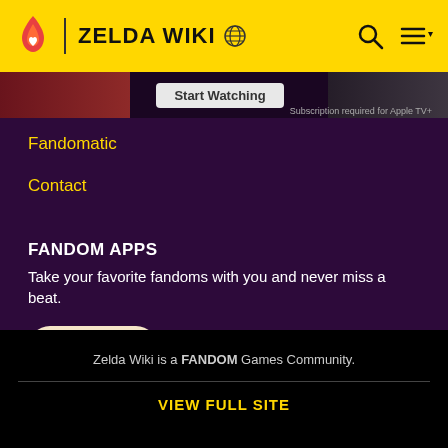ZELDA WIKI
Fandomatic
Contact
FANDOM APPS
Take your favorite fandoms with you and never miss a beat.
[Figure (logo): Fandom app icon — red flame with yellow heart on cream background]
[Figure (screenshot): Download on the App Store button (black, rounded rectangle)]
[Figure (screenshot): Get it on Google Play button (black, rounded rectangle)]
Zelda Wiki is a FANDOM Games Community.
VIEW FULL SITE